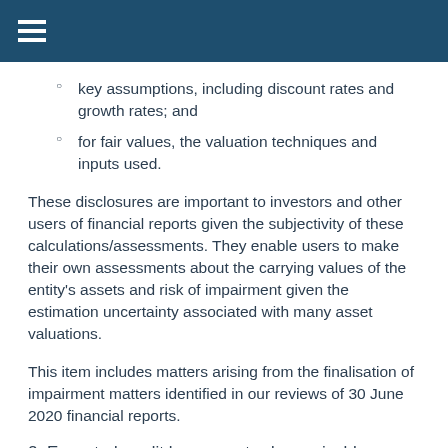key assumptions, including discount rates and growth rates; and
for fair values, the valuation techniques and inputs used.
These disclosures are important to investors and other users of financial reports given the subjectivity of these calculations/assessments. They enable users to make their own assessments about the carrying values of the entity's assets and risk of impairment given the estimation uncertainty associated with many asset valuations.
This item includes matters arising from the finalisation of impairment matters identified in our reviews of 30 June 2020 financial reports.
2. Expected credit losses on trade receivables
ASIC has been determining this in relation to expected credit...